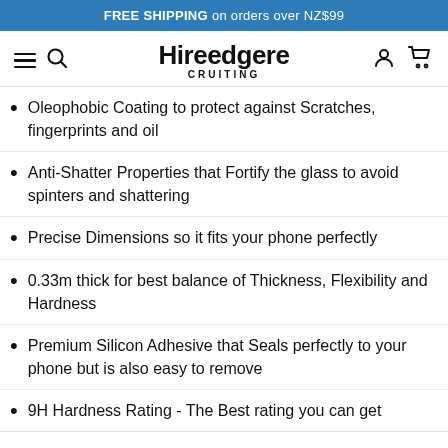FREE SHIPPING on orders over NZ$99
[Figure (screenshot): Navigation bar with hamburger menu, search icon, Hireedgere Cruiting logo, user icon, and cart icon]
Oleophobic Coating to protect against Scratches, fingerprints and oil
Anti-Shatter Properties that Fortify the glass to avoid spinters and shattering
Precise Dimensions so it fits your phone perfectly
0.33m thick for best balance of Thickness, Flexibility and Hardness
Premium Silicon Adhesive that Seals perfectly to your phone but is also easy to remove
9H Hardness Rating - The Best rating you can get